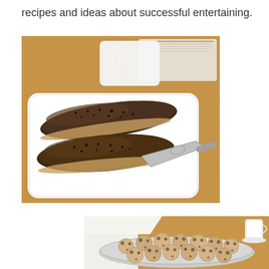recipes and ideas about successful entertaining.
[Figure (photo): A white rectangular plate with two grilled fish fillets (skin-side up, seasoned with black pepper), a metal spatula/pie server resting beside them, with serving tongs and an open book visible in the background on a woven placemat.]
[Figure (photo): A silver/metal round tray filled with chocolate chip cookies or similar baked goods, placed on a white napkin on a wooden surface, with a small white cup visible in the background.]